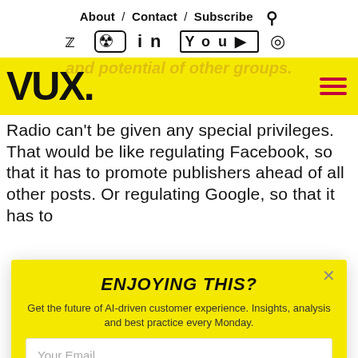About / Contact / Subscribe
[Figure (other): Social media icons: Twitter, Instagram, LinkedIn, YouTube, Spotify]
[Figure (logo): VUX. logo on yellow background with hamburger menu icon]
and potential of other groups.
Radio can't be given any special privileges. That would be like regulating Facebook, so that it has to promote publishers ahead of all other posts. Or regulating Google, so that it has to
ENJOYING THIS?
Get the future of AI-driven customer experience. Insights, analysis and best practice every Monday.
Your Email
Subscribe